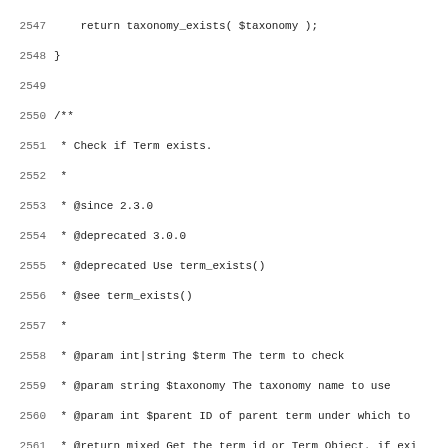Source code listing showing PHP functions is_term() and is_plugin_page() with PHPDoc comments, lines 2547-2579